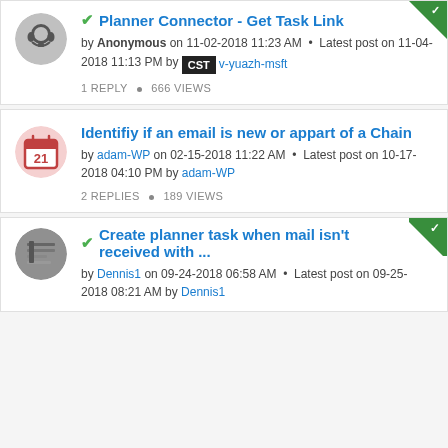Planner Connector - Get Task Link — by Anonymous on 11-02-2018 11:23 AM · Latest post on 11-04-2018 11:13 PM by CST v-yuazh-msft — 1 REPLY · 666 VIEWS
Identifiy if an email is new or appart of a Chain — by adam-WP on 02-15-2018 11:22 AM · Latest post on 10-17-2018 04:10 PM by adam-WP — 2 REPLIES · 189 VIEWS
Create planner task when mail isn't received with ... — by Dennis1 on 09-24-2018 06:58 AM · Latest post on 09-25-2018 08:21 AM by Dennis1